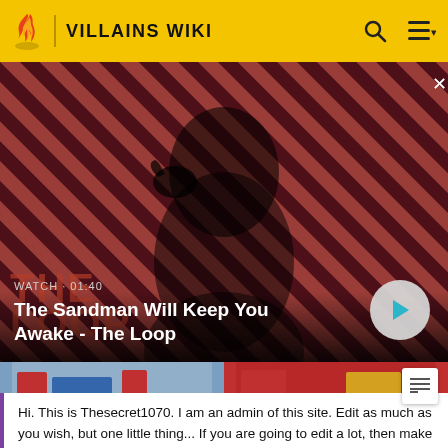VILLAINS WIKI
[Figure (screenshot): Video thumbnail showing a dark-clad figure with a raven on shoulder against a red and dark diagonal striped background. Shows 'WATCH · 01:40' label and title 'The Sandman Will Keep You Awake - The Loop' with a play button.]
WATCH · 01:40
The Sandman Will Keep You Awake - The Loop
[Figure (screenshot): Two thumbnail images side by side at the bottom of the video section, partially visible.]
Hi. This is Thesecret1070. I am an admin of this site. Edit as much as you wish, but one little thing... If you are going to edit a lot, then make yourself a user and login. Other than that, enjoy Villains Wiki!!!